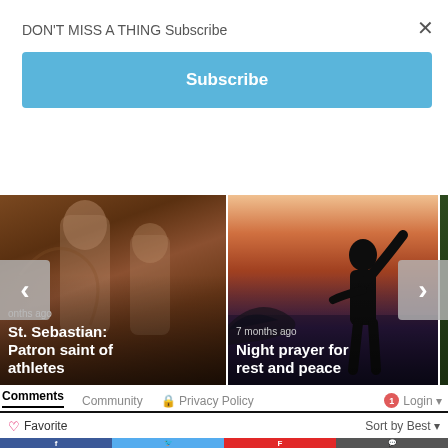DON'T MISS A THING Subscribe
×
Subscribe
[Figure (photo): Carousel with two article cards: left card shows a religious painting (St. Sebastian); right card shows a silhouette of person praying at dusk. Navigation arrows on each side.]
onths ago
St. Sebastian: Patron saint of athletes
7 months ago
Night prayer for rest and peace
Comments  Community  🔒 Privacy Policy  1  Login ▾
♡ Favorite    Sort by Best ▾
f  🐦  F  💬